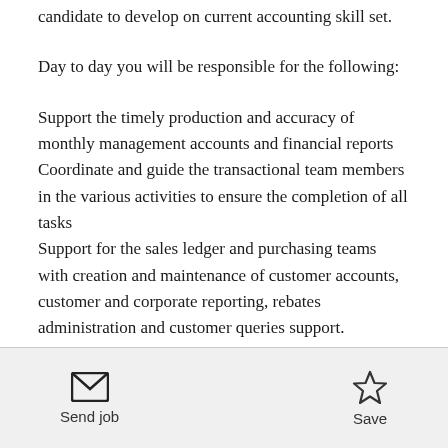candidate to develop on current accounting skill set.
Day to day you will be responsible for the following:
Support the timely production and accuracy of monthly management accounts and financial reports Coordinate and guide the transactional team members in the various activities to ensure the completion of all tasks Support for the sales ledger and purchasing teams with creation and maintenance of customer accounts, customer and corporate reporting, rebates administration and customer queries support.
Send job    Save